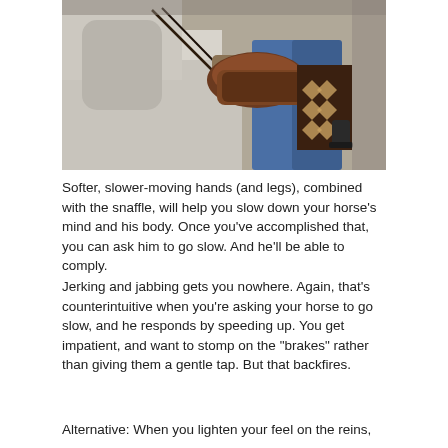[Figure (photo): Close-up photograph of a rider on horseback, showing the rider's hands holding reins over a white/grey horse, with a decorated western saddle visible and the rider wearing blue jeans with a western-style saddle blanket featuring diamond pattern]
Softer, slower-moving hands (and legs), combined with the snaffle, will help you slow down your horse’s mind and his body. Once you’ve accomplished that, you can ask him to go slow. And he’ll be able to comply.
Jerking and jabbing gets you nowhere. Again, that’s counterintuitive when you’re asking your horse to go slow, and he responds by speeding up. You get impatient, and want to stomp on the “brakes” rather than giving them a gentle tap. But that backfires.
Alternative: When you lighten your feel on the reins,